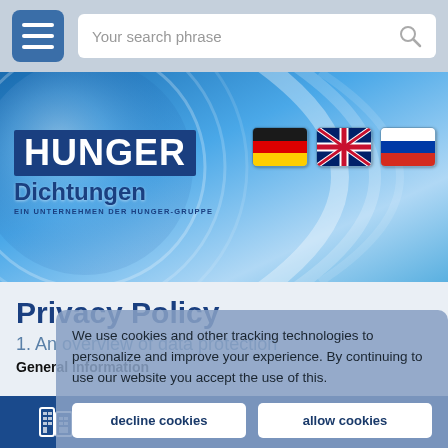[Figure (screenshot): Mobile website header with hamburger menu button and search bar reading 'Your search phrase']
[Figure (logo): Hunger Dichtungen company banner with globe graphic, logo text 'HUNGER Dichtungen EIN UNTERNEHMEN DER HUNGER-GRUPPE' and German, UK, Russian flag icons]
Privacy Policy
We use cookies and other tracking technologies to personalize and improve your experience. By continuing to use our website you accept the use of this.
1. An overview of data protection
General information
decline cookies
allow cookies